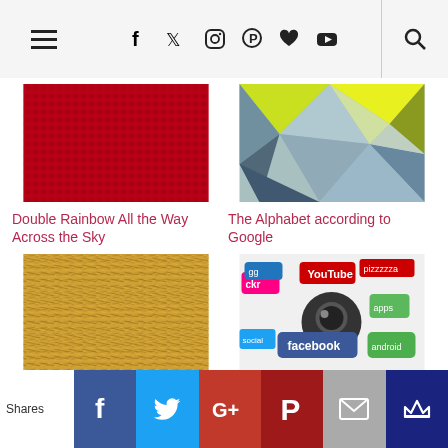Navigation header with hamburger menu, social icons (f, twitter, instagram, pinterest, heart, youtube), and search
[Figure (photo): Red halftone dot pattern background]
Double Rainbow All the Way Across the Sky
[Figure (photo): Colorful low-poly geometric triangles in yellow, green, blue, grey]
The Alphabet according to Google
[Figure (photo): Close-up of golden straw or hay]
More Awesomeness from Old Spice
[Figure (photo): Social media app logos including YouTube, Facebook, Flickr and others on white rounded rectangles]
How Private Are Our Private Lives?
Shares | Facebook | Twitter | Google+ | Pinterest | Email | Crown